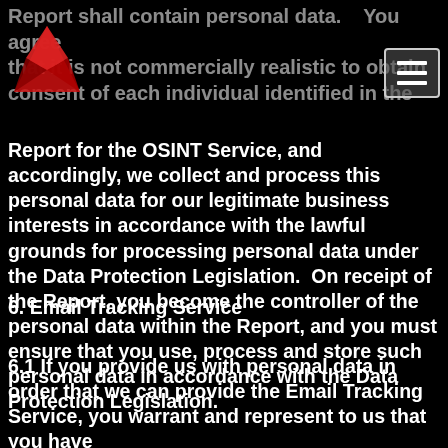Report shall contain personal data.   You agree that it is not commercially realistic to obtain the consent of each individual identified in the Report for the OSINT Service, and accordingly, we collect and process this personal data for our legitimate business interests in accordance with the lawful grounds for processing personal data under the Data Protection Legislation.  On receipt of the Report, you become the controller of the personal data within the Report, and you must ensure that you use, process and store such personal data in accordance with the Data Protection Legislation.
6. Email Tracking Service
6.1 If you provide us with personal data in order that we can provide the Email Tracking Service, you warrant and represent to us that you have